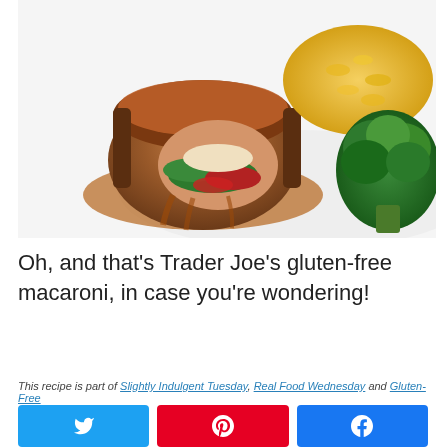[Figure (photo): A stuffed chicken breast or meatloaf roll sliced open showing spinach, sun-dried tomatoes, and cheese filling with brown sauce, served alongside macaroni and cheese and steamed broccoli on a white plate.]
Oh, and that’s Trader Joe’s gluten-free macaroni, in case you’re wondering!
This recipe is part of Slightly Indulgent Tuesday, Real Food Wednesday and Gluten-Free
[Figure (other): Social sharing buttons: Twitter (blue), Pinterest (red), Facebook (blue)]